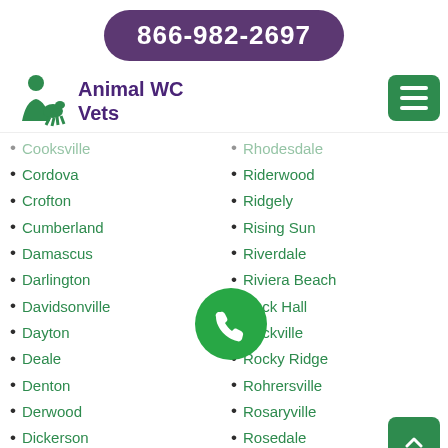866-982-2697
[Figure (logo): Animal WC Vets logo with green silhouette of person with animal]
Animal WC Vets
Cooksville (partial)
Cordova
Crofton
Cumberland
Damascus
Darlington
Davidsonville
Dayton
Deale
Denton
Derwood
Dickerson
District Heights
Rhodesdale (partial)
Riderwood
Ridgely
Rising Sun
Riverdale
Riviera Beach
Rock Hall (partial)
Rockville (partial)
Rocky Ridge
Rohrersville
Rosaryville
Rosedale
Rossville